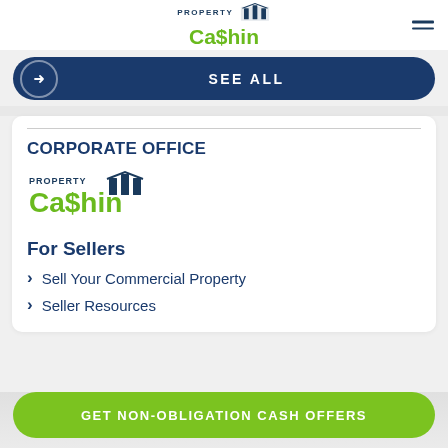Property Ca$hin
SEE ALL
CORPORATE OFFICE
[Figure (logo): Property Ca$hin logo with building icon]
For Sellers
Sell Your Commercial Property
Seller Resources
GET NON-OBLIGATION CASH OFFERS